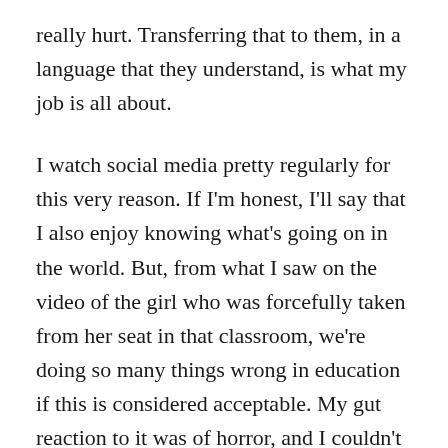really hurt. Transferring that to them, in a language that they understand, is what my job is all about.

I watch social media pretty regularly for this very reason. If I'm honest, I'll say that I also enjoy knowing what's going on in the world. But, from what I saw on the video of the girl who was forcefully taken from her seat in that classroom, we're doing so many things wrong in education if this is considered acceptable. My gut reaction to it was of horror, and I couldn't ever see myself approving of an SRO to treat one of my students like that. We're extensively trained in non-violent crisis prevention, and our